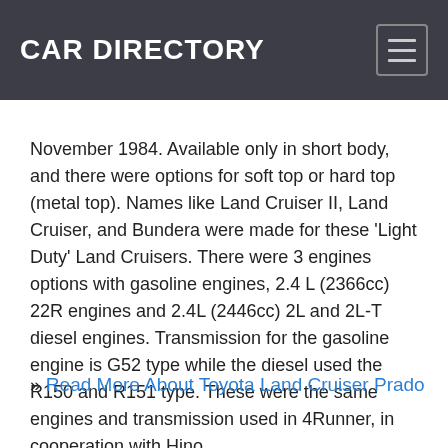CAR DIRECTORY
November 1984. Available only in short body, and there were options for soft top or hard top (metal top). Names like Land Cruiser II, Land Cruiser, and Bundera were made for these 'Light Duty' Land Cruisers. There were 3 engines options with gasoline engines, 2.4 L (2366cc) 22R engines and 2.4L (2446cc) 2L and 2L-T diesel engines. Transmission for the gasoline engine is G52 type while the diesel used the R150 and R151 type. These were the same engines and transmission used in 4Runner, in cooperation with Hino.
» Read More About Toyota Land Cruiser Prado